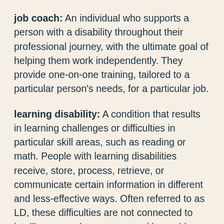job coach: An individual who supports a person with a disability throughout their professional journey, with the ultimate goal of helping them work independently. They provide one-on-one training, tailored to a particular person's needs, for a particular job.
learning disability: A condition that results in learning challenges or difficulties in particular skill areas, such as reading or math. People with learning disabilities receive, store, process, retrieve, or communicate certain information in different and less-effective ways. Often referred to as LD, these difficulties are not connected to intelligence and are not caused by problems with hearing or vision or by lack of